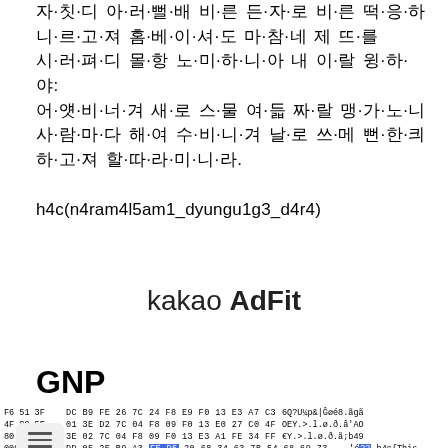자·칫·디 아·러·뻘·배 비·른 든·자·로 비·른 떡·응·하
니·르·고·져 홈·베·이·셔·도 마·참·네 제 뜨·를
시·러·펴·디 몰·항 노·미·하·니·아 내 이·랄 윙·하·야:
어·얫·비·너·겨 새·로 스·물 여·듧 짜·랄 맹·가·노·니
사·람·마·다 해·여 수·비·니·겨 날·로 쓰·메 뻔·한·킈
하·고·져 할·따·라·미·니·라.
h4c(n4ram4l5am1_dyungu1g3_d4r4)
kakao AdFit
GNP
F6 51 3F DC B9 FE 26 7C 24 F8 E9 F0 13 E3 A7 C3  6Q?U¼p&|Ĝøé8.ãgã
4F 80 5F 01 3E D2 7C 04 F8 09 F0 13 E0 27 C0 4F  OEY.>.l.ø.ð.â'AO
80 9F 01 3E 02 7C 04 F8 09 F0 13 E3 A1 FE 34 FF  €Y.>.l.ø.ð.ã;b49
DD 05 2E B9 A3 FE D5 20 68 34 63 7B 54 68 69 73  ...1é?? h4c{This